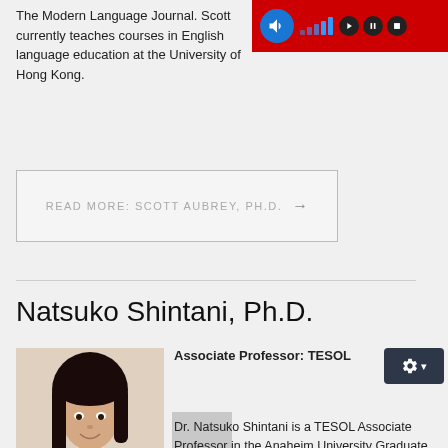The Modern Language Journal. Scott currently teaches courses in English language education at the University of Hong Kong.
READ MORE: SCOTT AUBREY, PH.D. →
Natsuko Shintani, Ph.D.
[Figure (photo): Headshot photo of Natsuko Shintani, a woman with dark hair wearing a black turtleneck, smiling.]
Associate Professor: TESOL
Dr. Natsuko Shintani is a TESOL Associate Professor in the Anaheim University Graduate School of Education. She obtained her Ph.D. from the University of Auckland in 2011. She has worked as a language teacher in Japan and New